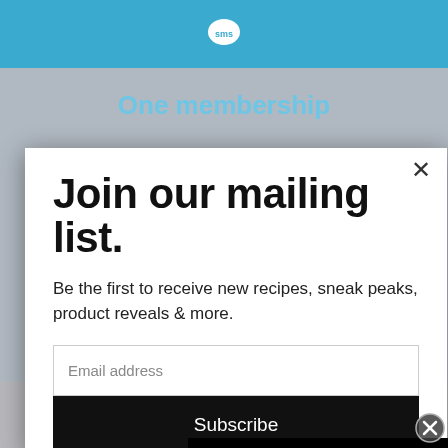[Figure (screenshot): Top blue navigation bar with SMS logo/icon (speech bubble with 'sms' text) centered]
Join our mailing list.
Be the first to receive new recipes, sneak peaks, product reveals & more.
Email address
Subscribe
[Figure (screenshot): Overlapping black video player with spinning/loading circle indicator and CLOSE button]
37 GENIUS AMAZON PRODUCTS THAT CAN BE USED BY ANYONE
One membership